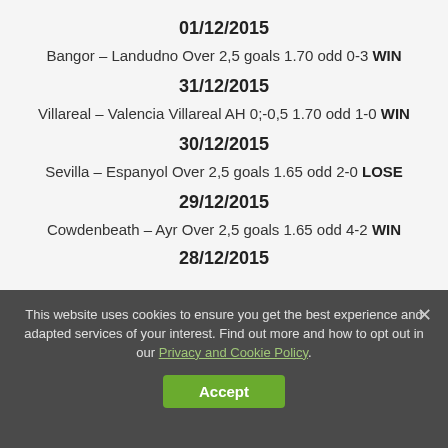01/12/2015
Bangor – Landudno Over 2,5 goals 1.70 odd 0-3 WIN
31/12/2015
Villareal – Valencia Villareal AH 0;-0,5 1.70 odd 1-0 WIN
30/12/2015
Sevilla – Espanyol Over 2,5 goals 1.65 odd 2-0 LOSE
29/12/2015
Cowdenbeath – Ayr Over 2,5 goals 1.65 odd 4-2 WIN
28/12/2015
This website uses cookies to ensure you get the best experience and adapted services of your interest. Find out more and how to opt out in our Privacy and Cookie Policy.